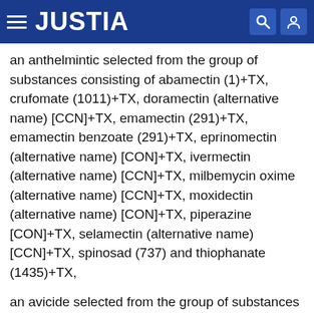JUSTIA
an anthelmintic selected from the group of substances consisting of abamectin (1)+TX, crufomate (1011)+TX, doramectin (alternative name) [CCN]+TX, emamectin (291)+TX, emamectin benzoate (291)+TX, eprinomectin (alternative name) [CON]+TX, ivermectin (alternative name) [CCN]+TX, milbemycin oxime (alternative name) [CCN]+TX, moxidectin (alternative name) [CON]+TX, piperazine [CON]+TX, selamectin (alternative name) [CCN]+TX, spinosad (737) and thiophanate (1435)+TX,
an avicide selected from the group of substances consisting of chloralose (127)+TX, endrin (1122)+TX, fenthion (346)+TX, pyridin-4-amine (IUPAC name) (23) and strychnine (745)+TX,
a bactericide selected from the group of substances consisting of 1-hydroxy-1H-pyridine-2-thione (IUPAC name)+TX, ...